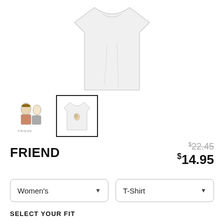[Figure (photo): Product photo of a white women's t-shirt shown from the front, cropped at the top]
[Figure (photo): Two product thumbnail images: first shows illustrated characters with FRIENDS text, second (selected, with black border) shows the white t-shirt with small graphic]
FRIEND
$22.45 (strikethrough original price) $14.95 (sale price)
Women's (dropdown selector)
T-Shirt (dropdown selector)
SELECT YOUR FIT